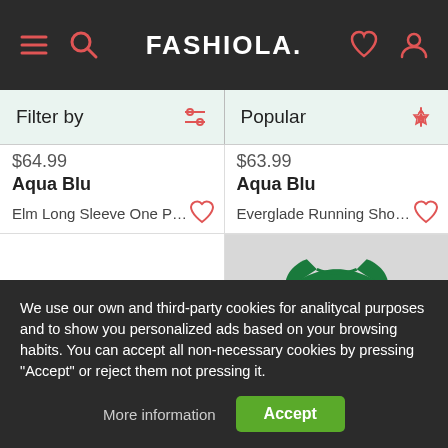FASHIOLA.
Filter by | Popular
$64.99
Aqua Blu
Elm Long Sleeve One Piec...
$63.99
Aqua Blu
Everglade Running Shorts...
[Figure (photo): Colorful floral patterned swimsuit/one-piece on light gray background]
We use our own and third-party cookies for analitycal purposes and to show you personalized ads based on your browsing habits. You can accept all non-necessary cookies by pressing "Accept" or reject them not pressing it.
More information | Accept